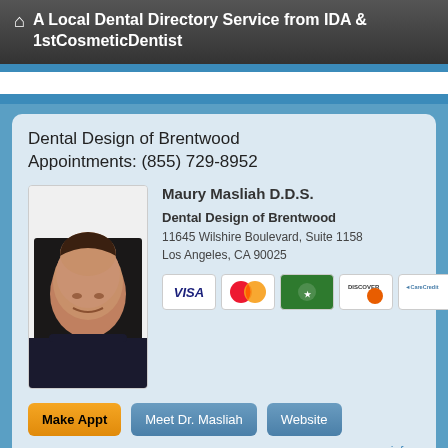⌂  A Local Dental Directory Service from IDA & 1stCosmeticDentist
Dental Design of Brentwood
Appointments: (855) 729-8952
[Figure (photo): Headshot photo of Dr. Maury Masliah, a man in a dark jacket and tie, smiling]
Maury Masliah D.D.S.
Dental Design of Brentwood
11645 Wilshire Boulevard, Suite 1158
Los Angeles, CA 90025
[Figure (other): Payment method icons: Visa, MasterCard, American Express, Discover, CareCredit]
Make Appt   Meet Dr. Masliah   Website
more info...